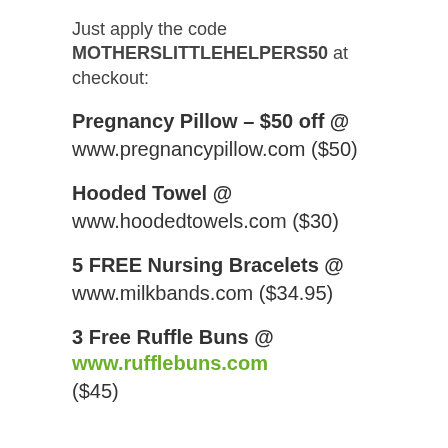Just apply the code MOTHERSLITTLEHELPERS50 at checkout:
Pregnancy Pillow – $50 off @ www.pregnancypillow.com ($50)
Hooded Towel @ www.hoodedtowels.com ($30)
5 FREE Nursing Bracelets @ www.milkbands.com ($34.95)
3 Free Ruffle Buns @ www.rufflebuns.com ($45)